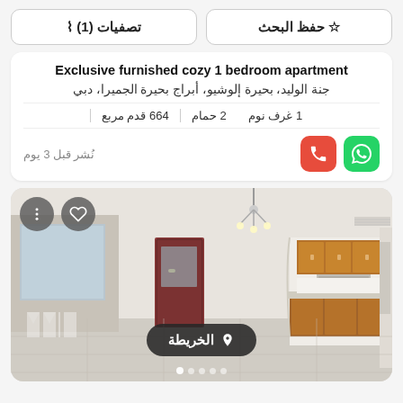تصفيات (1)
حفظ البحث
Exclusive furnished cozy 1 bedroom apartment
جنة الوليد، بحيرة إلوشيو، أبراج بحيرة الجميرا، دبي
1 غرف نوم  |  2 حمام  |  664 قدم مربع
نُشر قبل 3 يوم
[Figure (photo): Interior photo of an empty apartment showing living area and kitchen with wooden cabinets]